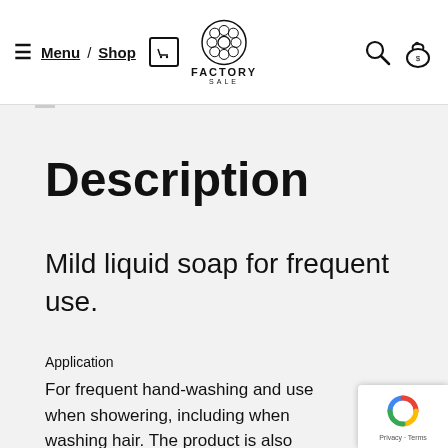Menu / Shop — Factory Sale navigation bar
Description
Mild liquid soap for frequent use.
Application
For frequent hand-washing and use when showering, including when washing hair. The product is also